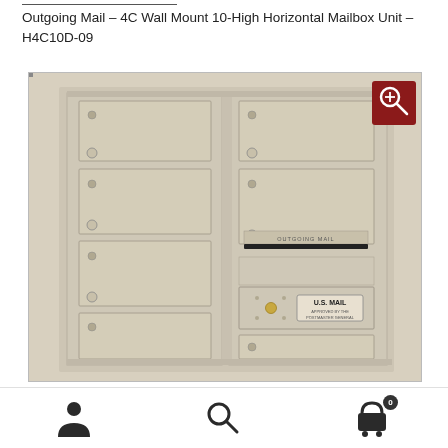Outgoing Mail – 4C Wall Mount 10-High Horizontal Mailbox Unit – H4C10D-09
[Figure (photo): Product photo of a 4C Wall Mount 10-High Horizontal Mailbox Unit (H4C10D-09) in sandstone color. The unit shows two columns of mailbox compartments with key locks, an outgoing mail slot, and a U.S. MAIL approved panel. A red zoom button appears in the top-right corner of the image.]
[Figure (infographic): Bottom navigation bar with three icons: a user/person icon, a search/magnifier icon, and a shopping cart icon with a '0' badge.]